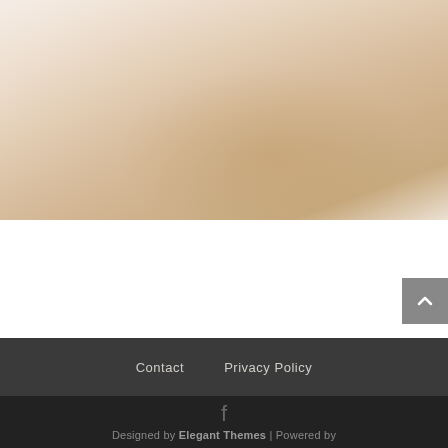[Figure (photo): Blurred soft-focus photograph with warm beige and tan tones, possibly a nature or abstract background image.]
Contact   Privacy Policy
f
Designed by Elegant Themes | Powered by WordPress